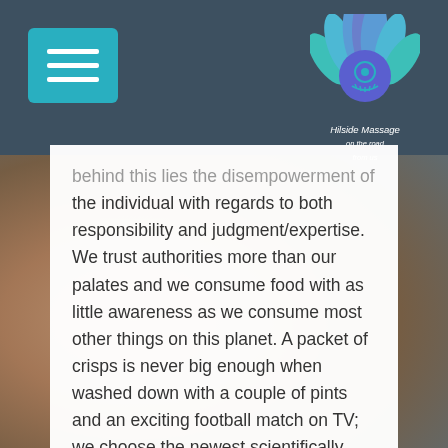[Figure (logo): Hilside Massage logo with lotus flower in blue/teal colors and hand symbol]
behind this lies the disempowerment of the individual with regards to both responsibility and judgment/expertise. We trust authorities more than our palates and we consume food with as little awareness as we consume most other things on this planet. A packet of crisps is never big enough when washed down with a couple of pints and an exciting football match on TV; we choose the newest scientifically developed diet